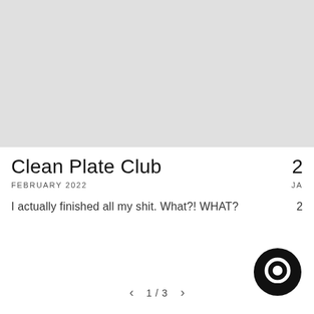[Figure (photo): Large light gray placeholder image at top of page]
Clean Plate Club
FEBRUARY 2022
I actually finished all my shit. What?! WHAT?
1 / 3